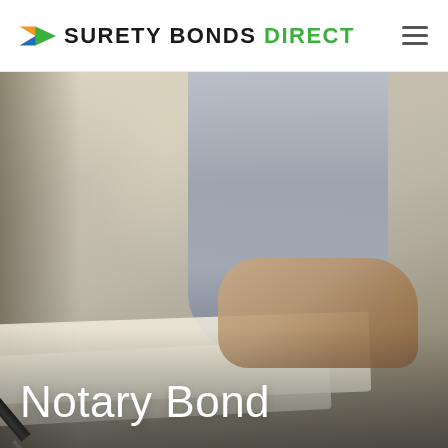[Figure (logo): Surety Bonds Direct logo with orange/green/blue arrow chevron icon and company name]
[Figure (photo): Close-up photo of a person in a grey dress shirt signing or pressing hand onto a document on a table, with a pen visible on the left side. Warm, blurred background. Banner image for Notary Bond page.]
Notary Bond